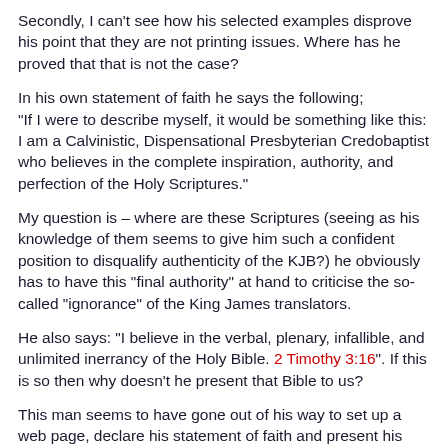Secondly, I can't see how his selected examples disprove his point that they are not printing issues. Where has he proved that that is not the case?
In his own statement of faith he says the following; “If I were to describe myself, it would be something like this: I am a Calvinistic, Dispensational Presbyterian Credobaptist who believes in the complete inspiration, authority, and perfection of the Holy Scriptures.”
My question is – where are these Scriptures (seeing as his knowledge of them seems to give him such a confident position to disqualify authenticity of the KJB?) he obviously has to have this “final authority” at hand to criticise the so-called “ignorance” of the King James translators.
He also says: “I believe in the verbal, plenary, infallible, and unlimited inerrancy of the Holy Bible. 2 Timothy 3:16”. If this is so then why doesn’t he present that Bible to us?
This man seems to have gone out of his way to set up a web page, declare his statement of faith and present his ministry as a fundamental Christian witness. But what I really don’t understand is why the preservationists (such as me) are such a problem to him, when he (by his own